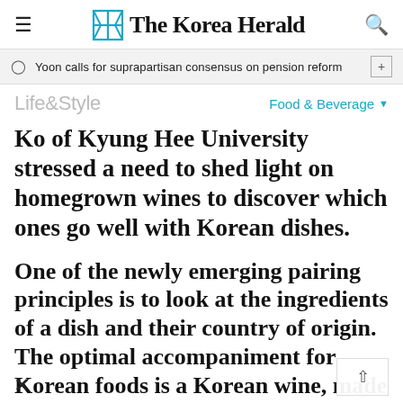The Korea Herald
Yoon calls for suprapartisan consensus on pension reform
Life&Style
Food & Beverage
Ko of Kyung Hee University stressed a need to shed light on homegrown wines to discover which ones go well with Korean dishes.
One of the newly emerging pairing principles is to look at the ingredients of a dish and their country of origin. The optimal accompaniment for Korean foods is a Korean wine, made from grapes grown in one of t